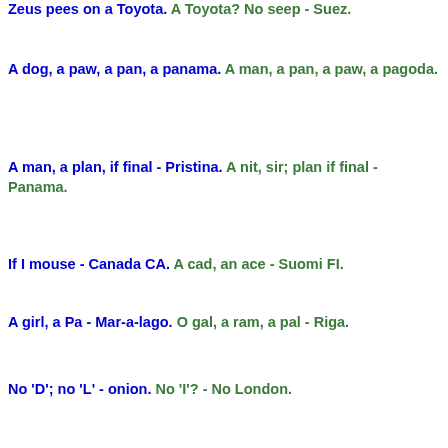Zeus pees on a Toyota. A Toyota? No seep - Suez.
A dog, a paw, a pan, a panama. A man, a pan, a paw, a pagoda.
A man, a plan, if final - Pristina. A nit, sir; plan if final - Panama.
If I mouse - Canada CA. A cad, an ace - Suomi FI.
A girl, a Pa - Mar-a-lago. O gal, a ram, a pal - Riga.
No 'D'; no 'L' - onion. No 'I'? - No London.